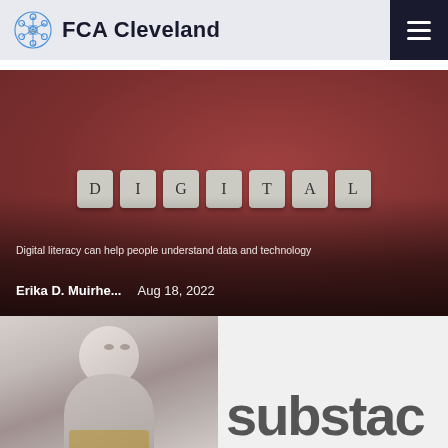FCA Cleveland
[Figure (photo): Red/terracotta background with scrabble-style letter tiles spelling DIGITAL arranged in a row. Overlaid text at bottom: 'Digital literacy can help people understand data and technology']
Digital literacy can help people understand data and technology
Erika D. Muirhe...   Aug 18, 2022
[Figure (photo): Portrait photo of an older person with white/grey hair]
[Figure (screenshot): Partial text showing 'substac' in large grey letters, cropped]